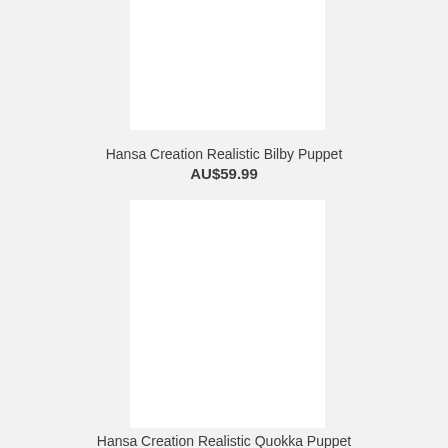[Figure (photo): White blank product image placeholder for Hansa Creation Realistic Bilby Puppet]
Hansa Creation Realistic Bilby Puppet
AU$59.99
[Figure (photo): White blank product image placeholder for Hansa Creation Realistic Quokka Puppet]
Hansa Creation Realistic Quokka Puppet
AU$59.99